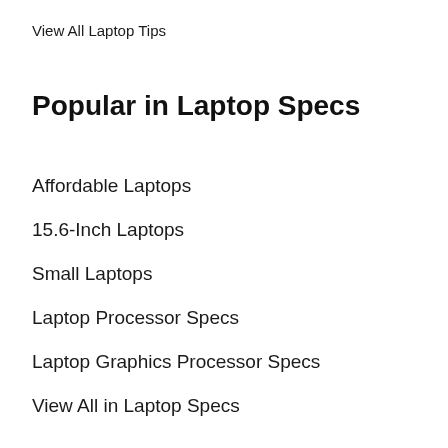View All Laptop Tips
Popular in Laptop Specs
Affordable Laptops
15.6-Inch Laptops
Small Laptops
Laptop Processor Specs
Laptop Graphics Processor Specs
View All in Laptop Specs